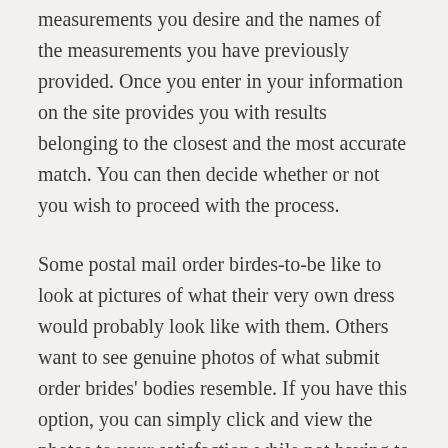measurements you desire and the names of the measurements you have previously provided. Once you enter in your information on the site provides you with results belonging to the closest and the most accurate match. You can then decide whether or not you wish to proceed with the process.
Some postal mail order birdes-to-be like to look at pictures of what their very own dress would probably look like with them. Others want to see genuine photos of what submit order brides' bodies resemble. If you have this option, you can simply click and view the photos to your satisfaction while not having to